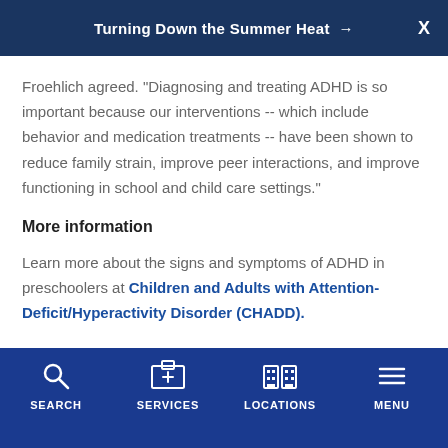Turning Down the Summer Heat →  X
Froehlich agreed. "Diagnosing and treating ADHD is so important because our interventions -- which include behavior and medication treatments -- have been shown to reduce family strain, improve peer interactions, and improve functioning in school and child care settings."
More information
Learn more about the signs and symptoms of ADHD in preschoolers at Children and Adults with Attention-Deficit/Hyperactivity Disorder (CHADD).
SEARCH  SERVICES  LOCATIONS  MENU